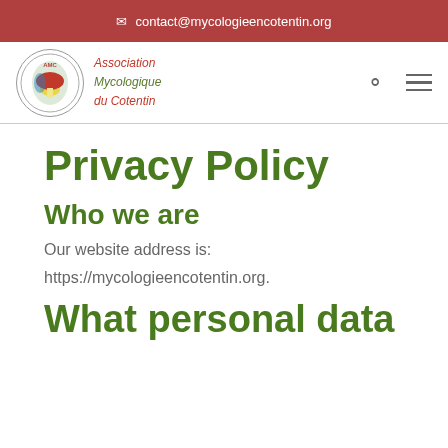contact@mycologieencotentin.org
[Figure (logo): Association Mycologique du Cotentin logo — circular badge with mushroom illustration, with red italic text 'Association Mycologique du Cotentin']
Privacy Policy
Who we are
Our website address is:
https://mycologieencotentin.org.
What personal data